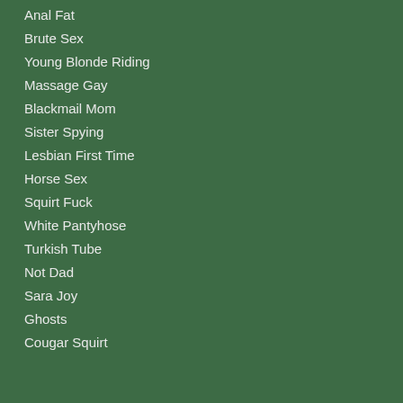Anal Fat
Brute Sex
Young Blonde Riding
Massage Gay
Blackmail Mom
Sister Spying
Lesbian First Time
Horse Sex
Squirt Fuck
White Pantyhose
Turkish Tube
Not Dad
Sara Joy
Ghosts
Cougar Squirt